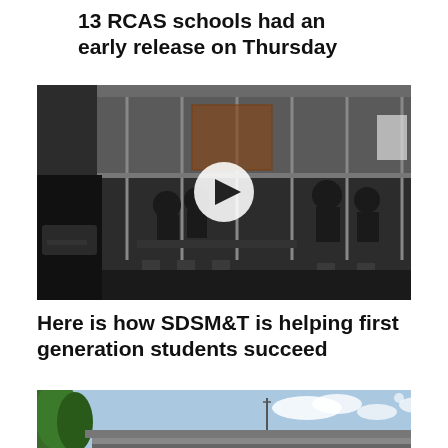13 RCAS schools had an early release on Thursday
[Figure (photo): Video thumbnail showing people working in a glass-walled office/building interior, with a play button overlay]
Here is how SDSM&T is helping first generation students succeed
[Figure (photo): Exterior photo of a building with blue sky and trees visible]